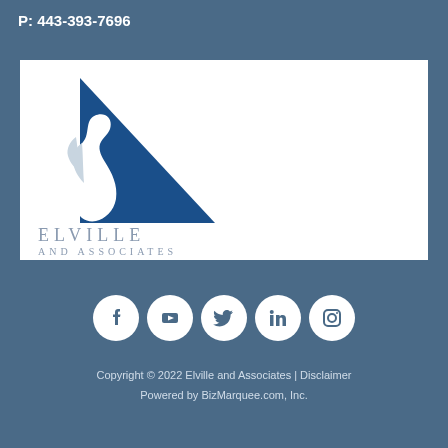P: 443-393-7696
[Figure (logo): Elville and Associates logo with a horse head silhouette inside a blue triangle, with text 'ELVILLE AND ASSOCIATES']
[Figure (infographic): Row of 5 social media icon circles: Facebook, YouTube, Twitter, LinkedIn, Instagram]
Copyright © 2022 Elville and Associates | Disclaimer
Powered by BizMarquee.com, Inc.